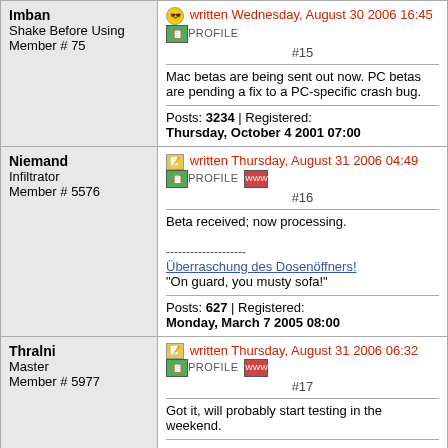| User | Post |
| --- | --- |
| Imban
Shake Before Using
Member # 75 | written Wednesday, August 30 2006 16:45 PROFILE #15
Mac betas are being sent out now. PC betas are pending a fix to a PC-specific crash bug.
Posts: 3234 | Registered: Thursday, October 4 2001 07:00 |
| Niemand
Infiltrator
Member # 5576 | written Thursday, August 31 2006 04:49 PROFILE WWW #16
Beta received; now processing.
--------------------
Überraschung des Dosenöffners!
"On guard, you musty sofa!"
Posts: 627 | Registered: Monday, March 7 2005 08:00 |
| Thralni
Master
Member # 5977 | written Thursday, August 31 2006 06:32 PROFILE WWW #17
Got it, will probably start testing in the weekend.
.................... |